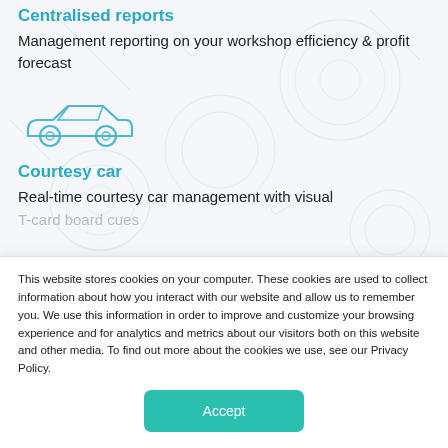Centralised reports
Management reporting on your workshop efficiency & profit forecast
[Figure (illustration): Line art icon of a car (courtesy car) in light blue outline style]
Courtesy car
Real-time courtesy car management with visual
T-card board cues
This website stores cookies on your computer. These cookies are used to collect information about how you interact with our website and allow us to remember you. We use this information in order to improve and customize your browsing experience and for analytics and metrics about our visitors both on this website and other media. To find out more about the cookies we use, see our Privacy Policy.